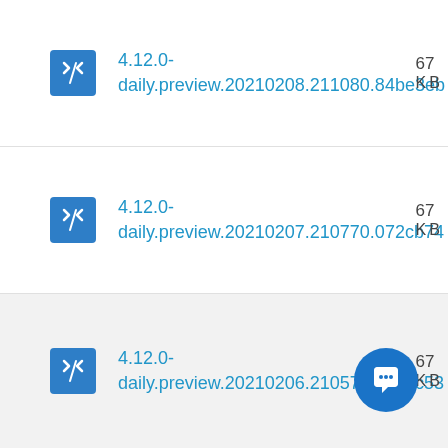4.12.0-daily.preview.20210208.211080.84be3eb
4.12.0-daily.preview.20210207.210770.072cb74
4.12.0-daily.preview.20210206.210576.5b4dc53
4.12.0-daily.preview.20210205.210249.a163...